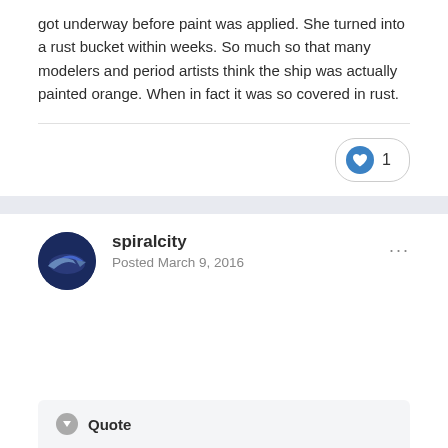got underway before paint was applied. She turned into a rust bucket within weeks. So much so that many modelers and period artists think the ship was actually painted orange. When in fact it was so covered in rust.
[Figure (other): Like/reaction button showing a heart icon with count of 1]
spiralcity
Posted March 9, 2016
[Figure (other): User avatar for spiralcity showing a stylized aircraft image on dark blue background]
Quote